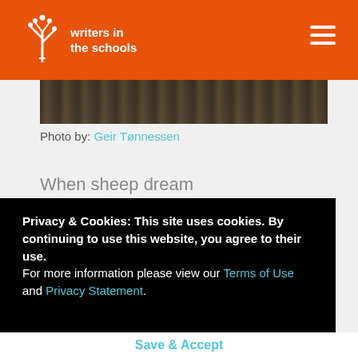writers in the schools
[Figure (photo): Partial photo strip showing outdoor scene, cropped at top]
Photo by: Geir Tønnessen
When sheep dream
Privacy & Cookies: This site uses cookies. By continuing to use this website, you agree to their use. For more information please view our Terms of Use and Privacy Statement.
Save & Accept
this...and that...